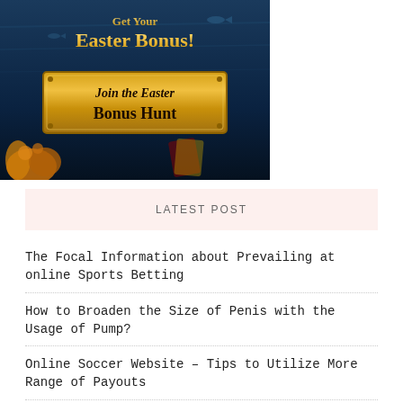[Figure (illustration): Easter bonus casino advertisement banner with underwater ocean theme, dark blue background with fish. Gold text 'Get Your Easter Bonus!' at top and a gold plaque reading 'Join the Easter Bonus Hunt' in the center. Coral visible at bottom left.]
LATEST POST
The Focal Information about Prevailing at online Sports Betting
How to Broaden the Size of Penis with the Usage of Pump?
Online Soccer Website – Tips to Utilize More Range of Payouts